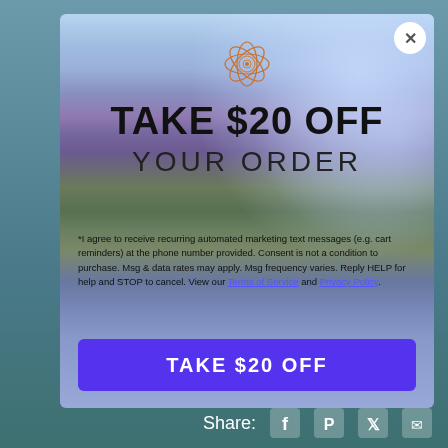[Figure (screenshot): Modal popup overlay on a lavender field background photo. Contains a geometric mandala/lotus logo in orange, headline text 'TAKE $20 OFF YOUR ORDER', fine print about SMS marketing consent, and a purple CTA button reading 'TAKE $20 OFF'. A close (X) button appears in the top right corner.]
*I agree to receive recurring automated marketing text messages (e.g. cart reminders) at the phone number provided. Consent is not a condition to purchase. Msg & data rates may apply. Msg frequency varies. Reply HELP for help and STOP to cancel. View our Terms of Service and Privacy Policy.
TAKE $20 OFF
Share: